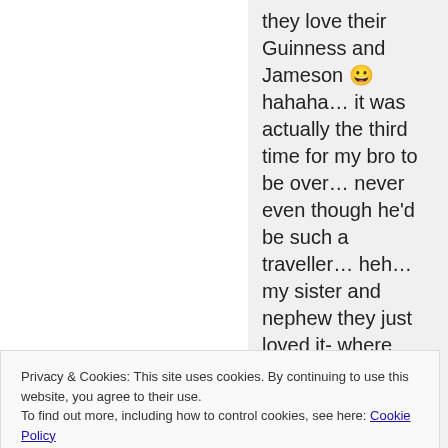they love their Guinness and Jameson 😀 hahaha… it was actually the third time for my bro to be over… never even though he'd be such a traveller… heh… my sister and nephew they just loved it- where
Privacy & Cookies: This site uses cookies. By continuing to use this website, you agree to their use.
To find out more, including how to control cookies, see here: Cookie Policy
Close and accept
they had a good